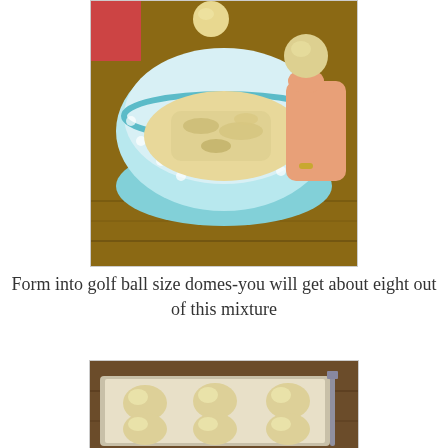[Figure (photo): A person holding a small ball of dough mixture above a blue polka-dot bowl containing crumbly dough mixture on a wooden surface.]
Form into golf ball size domes-you will get about eight out of this mixture
[Figure (photo): Six small dough balls arranged in two rows on parchment paper on a baking tray, with a utensil visible in the background.]